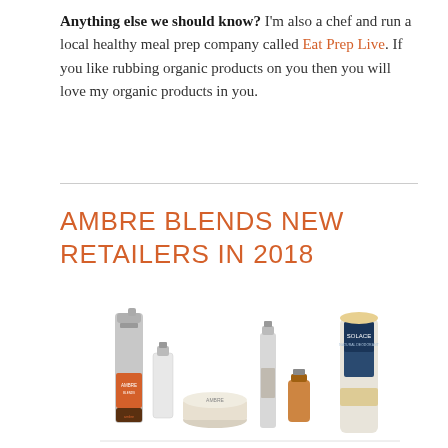Anything else we should know? I'm also a chef and run a local healthy meal prep company called Eat Prep Live. If you like rubbing organic products on you then you will love my organic products in you.
AMBRE BLENDS NEW RETAILERS IN 2018
[Figure (photo): A collection of Ambre Blends skincare and personal care products including spray bottles, glass jars, and deodorant sticks, displayed together. Products include labels reading 'AMBRE', 'SOLACE', and others.]